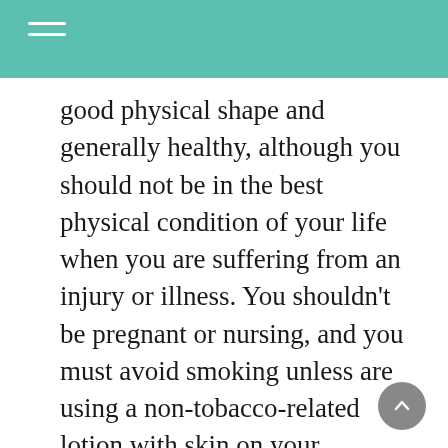good physical shape and generally healthy, although you should not be in the best physical condition of your life when you are suffering from an injury or illness. You shouldn't be pregnant or nursing, and you must avoid smoking unless are using a non-tobacco-related lotion with skin on your fingertips.
Thai massage Therapists are trained to become extremely gentle and calm. It is not necessary to feel discomfort or pain as a result of the techniques. Thai massage therapists use only the most clean, smooth